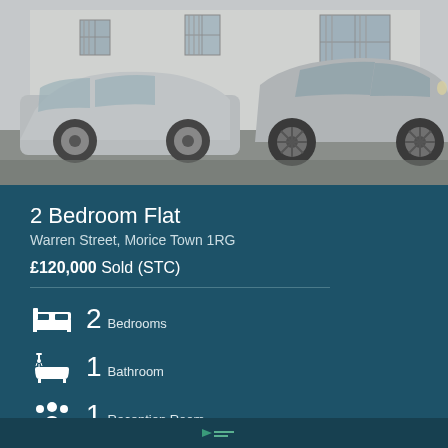[Figure (photo): Exterior photo showing two silver/grey cars parked in front of a white/grey building with barred windows. One is a hatchback on the left and one is an SUV on the right.]
2 Bedroom Flat
Warren Street, Morice Town 1RG
£120,000 Sold (STC)
2 Bedrooms
1 Bathroom
1 Reception Room